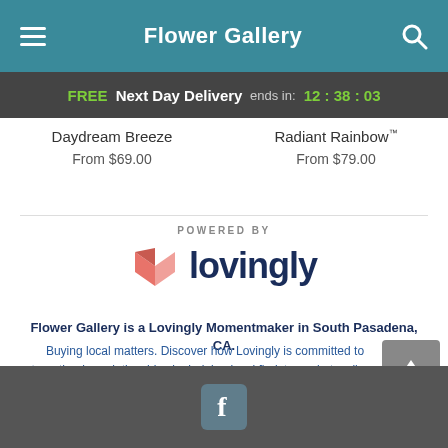Flower Gallery
FREE Next Day Delivery ends in: 12:38:03
Daydream Breeze
From $69.00
Radiant Rainbow™
From $79.00
[Figure (logo): Lovingly logo with heart icon and wordmark 'lovingly' in dark navy blue, preceded by 'POWERED BY' label]
Flower Gallery is a Lovingly Momentmaker in South Pasadena, CA.
Buying local matters. Discover how Lovingly is committed to strengthening relationships by helping local florists market, sell, and deliver their floral designs online.
Facebook icon